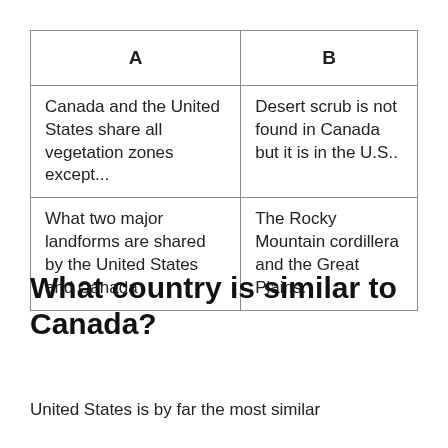| A | B |
| --- | --- |
| Canada and the United States share all vegetation zones except... | Desert scrub is not found in Canada but it is in the U.S.. |
| What two major landforms are shared by the United States and Canada | The Rocky Mountain cordillera and the Great Plains. |
What country is similar to Canada?
United States is by far the most similar